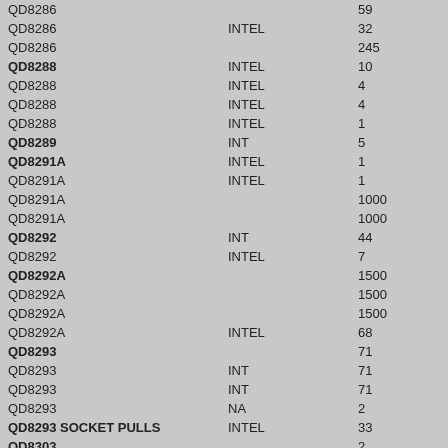| Part | Source | Qty |
| --- | --- | --- |
| QD8286 |  | 59 |
| QD8286 | INTEL | 32 |
| QD8286 |  | 245 |
| QD8288 | INTEL | 10 |
| QD8288 | INTEL | 4 |
| QD8288 | INTEL | 4 |
| QD8288 | INTEL | 1 |
| QD8289 | INT | 5 |
| QD8291A | INTEL | 1 |
| QD8291A | INTEL | 1 |
| QD8291A |  | 1000 |
| QD8291A |  | 1000 |
| QD8292 | INT | 44 |
| QD8292 | INTEL | 7 |
| QD8292A |  | 1500 |
| QD8292A |  | 1500 |
| QD8292A |  | 1500 |
| QD8292A | INTEL | 68 |
| QD8293 |  | 71 |
| QD8293 | INT | 71 |
| QD8293 | INT | 71 |
| QD8293 | NA | 2 |
| QD8293 SOCKET PULLS | INTEL | 33 |
| QD8303 |  | 2 |
| QD8478H | INT | 1 |